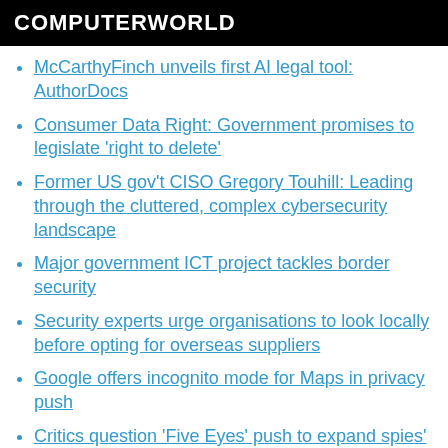COMPUTERWORLD
McCarthyFinch unveils first AI legal tool: AuthorDocs
Consumer Data Right: Government promises to legislate 'right to delete'
Former US gov't CISO Gregory Touhill: Leading through the cluttered, complex cybersecurity landscape
Major government ICT project tackles border security
Security experts urge organisations to look locally before opting for overseas suppliers
Google offers incognito mode for Maps in privacy push
Critics question 'Five Eyes' push to expand spies'